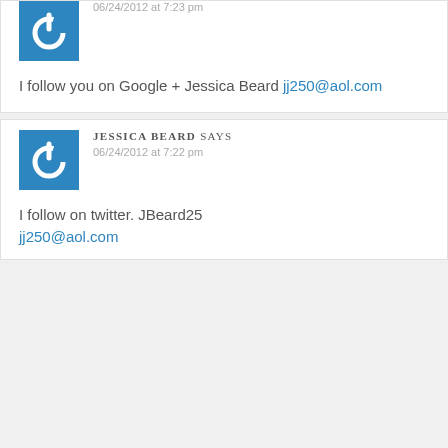[Figure (illustration): Blue square avatar with white power button icon]
06/24/2012 at 7:23 pm
I follow you on Google + Jessica Beard jj250@aol.com
JESSICA BEARD SAYS
06/24/2012 at 7:22 pm
[Figure (illustration): Blue square avatar with white power button icon]
I follow on twitter. JBeard25 jj250@aol.com